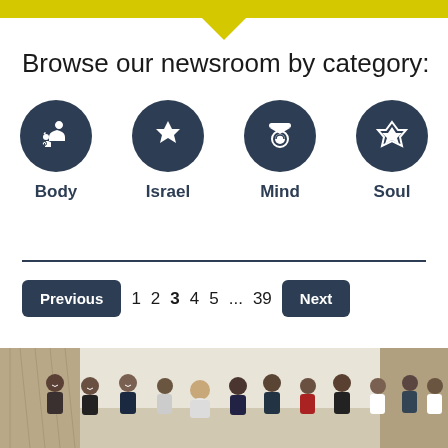Browse our newsroom by category:
[Figure (illustration): Category icon: Body — dark circle with flexed arm and checkmark]
Body
[Figure (illustration): Category icon: Israel — dark circle with Star of David]
Israel
[Figure (illustration): Category icon: Mind — dark circle with graduation cap face]
Mind
[Figure (illustration): Category icon: Soul — dark circle with diamond gem]
Soul
Previous  1  2  3  4  5  ...  39  Next
[Figure (photo): Group photo of many men in a room, some in formal attire, some casual, posing together]